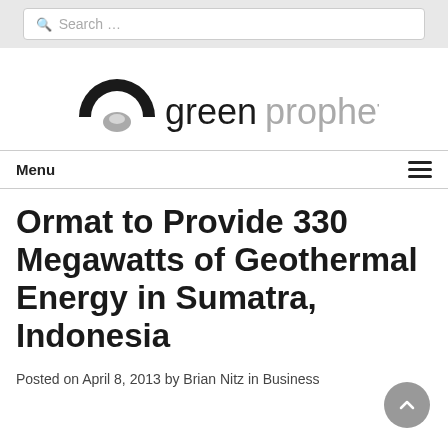Search...
[Figure (logo): Green Prophet website logo with black arch/circle icon and 'greenprophet' text in mixed black and gray]
Menu
Ormat to Provide 330 Megawatts of Geothermal Energy in Sumatra, Indonesia
Posted on April 8, 2013 by Brian Nitz in Business